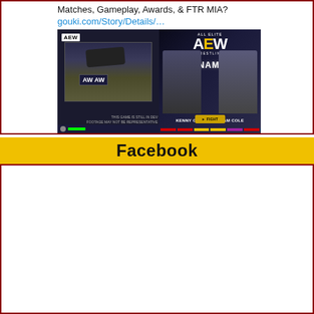Matches, Gameplay, Awards, & FTR MIA? gouki.com/Story/Details/…
[Figure (photo): Two side-by-side images: left shows an AEW wrestling video game screenshot with a wrestler lying on the ring floor with dev notice text; right shows an AEW Dynamite promotional poster featuring Kenny Omega vs Adam Cole with a fight button.]
Facebook